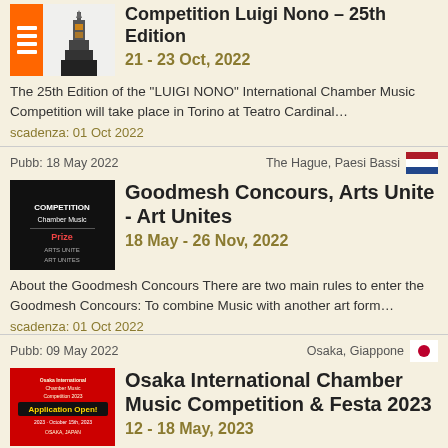[Figure (illustration): Thumbnail image for Competition Luigi Nono with orange stripe and tower silhouette]
Competition Luigi Nono – 25th Edition
21 - 23 Oct, 2022
The 25th Edition of the "LUIGI NONO" International Chamber Music Competition will take place in Torino at Teatro Cardinal…
scadenza: 01 Oct 2022
Pubb: 18 May 2022
The Hague, Paesi Bassi
[Figure (photo): Dark thumbnail image for Goodmesh Concours, Arts Unite - Art Unites]
Goodmesh Concours, Arts Unite - Art Unites
18 May - 26 Nov, 2022
About the Goodmesh Concours There are two main rules to enter the Goodmesh Concours: To combine Music with another art form…
scadenza: 01 Oct 2022
Pubb: 09 May 2022
Osaka, Giappone
[Figure (photo): Red thumbnail image for Osaka International Chamber Music Competition with Application Open text]
Osaka International Chamber Music Competition & Festa 2023
12 - 18 May, 2023